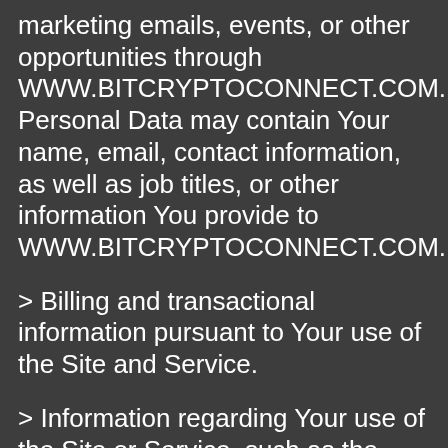marketing emails, events, or other opportunities through WWW.BITCRYPTOCONNECT.COM. Personal Data may contain Your name, email, contact information, as well as job titles, or other information You provide to WWW.BITCRYPTOCONNECT.COM.
> Billing and transactional information pursuant to Your use of the Site and Service.
> Information regarding Your use of the Site or Service, such as the hardware model, operating system version, web-browser software and